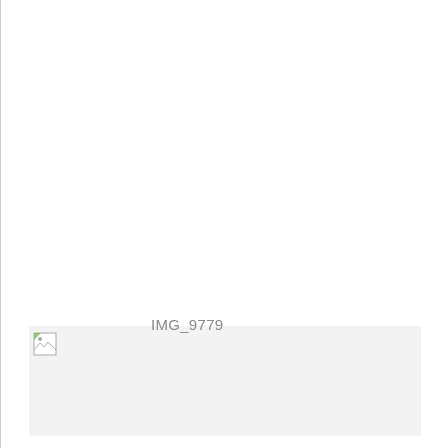[Figure (photo): Broken/missing image placeholder with filename IMG_9779 displayed. The image failed to load and shows a broken image icon in the lower-left area with a light gray background placeholder region.]